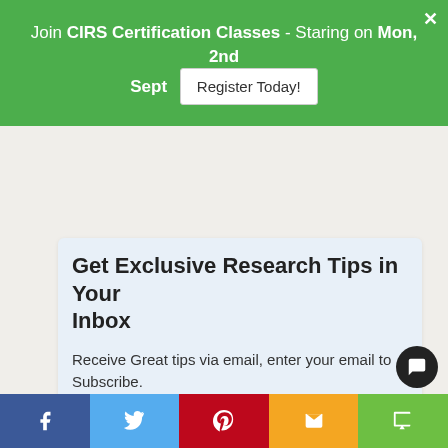Join CIRS Certification Classes - Staring on Mon, 2nd Sept  Register Today!
Get Exclusive Research Tips in Your Inbox
Receive Great tips via email, enter your email to Subscribe.
Email  Subscribe
Privacy Policy   Terms & Conditions   Advertising Opportunities   Sitemap